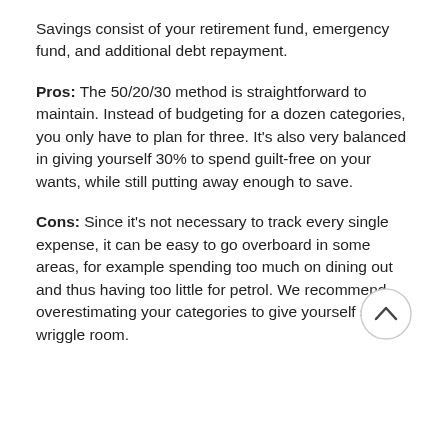Savings consist of your retirement fund, emergency fund, and additional debt repayment.
Pros: The 50/20/30 method is straightforward to maintain. Instead of budgeting for a dozen categories, you only have to plan for three. It’s also very balanced in giving yourself 30% to spend guilt-free on your wants, while still putting away enough to save.
Cons: Since it’s not necessary to track every single expense, it can be easy to go overboard in some areas, for example spending too much on dining out and thus having too little for petrol. We recommend overestimating your categories to give yourself some wriggle room.
[Figure (other): A circular scroll-up button with an upward-pointing chevron/caret icon, positioned in the lower right area of the page.]